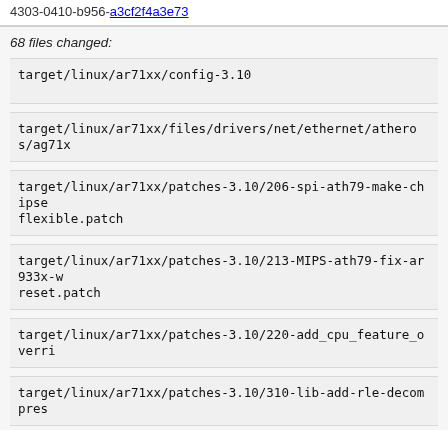4303-0410-b956-a3cf2f4a3e73
68 files changed:
target/linux/ar71xx/config-3.10
target/linux/ar71xx/files/drivers/net/ethernet/atheros/ag71x…
target/linux/ar71xx/patches-3.10/206-spi-ath79-make-chipselect-flexible.patch
target/linux/ar71xx/patches-3.10/213-MIPS-ath79-fix-ar933x-w-reset.patch
target/linux/ar71xx/patches-3.10/220-add_cpu_feature_overrid…
target/linux/ar71xx/patches-3.10/310-lib-add-rle-decompress…